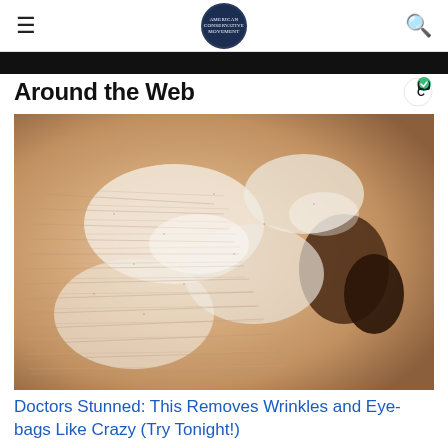≡  AMERICAN CONSERVATIVE MOVEMENT  🔍
Around the Web
[Figure (photo): Close-up photograph of elderly person's face showing wrinkled skin with white cream or mask applied]
Doctors Stunned: This Removes Wrinkles and Eye-bags Like Crazy (Try Tonight!)